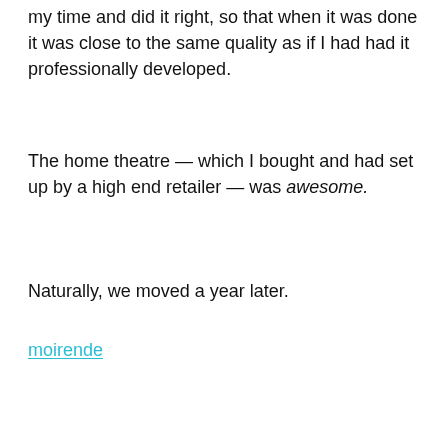my time and did it right, so that when it was done it was close to the same quality as if I had had it professionally developed.
The home theatre — which I bought and had set up by a high end retailer — was awesome.
Naturally, we moved a year later.
moirende